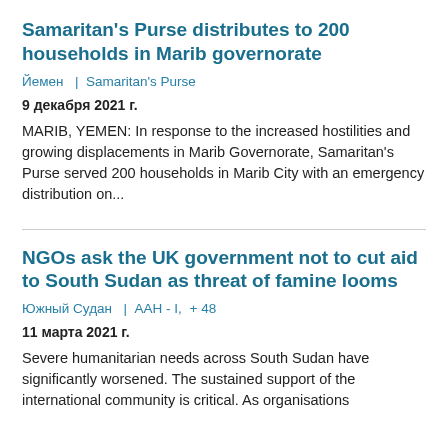Samaritan's Purse distributes to 200 households in Marib governorate
Йемен  |  Samaritan's Purse
9 декабря 2021 г.
MARIB, YEMEN: In response to the increased hostilities and growing displacements in Marib Governorate, Samaritan's Purse served 200 households in Marib City with an emergency distribution on...
NGOs ask the UK government not to cut aid to South Sudan as threat of famine looms
Южный Судан  |  ААН - I, + 48
11 марта 2021 г.
Severe humanitarian needs across South Sudan have significantly worsened. The sustained support of the international community is critical. As organisations